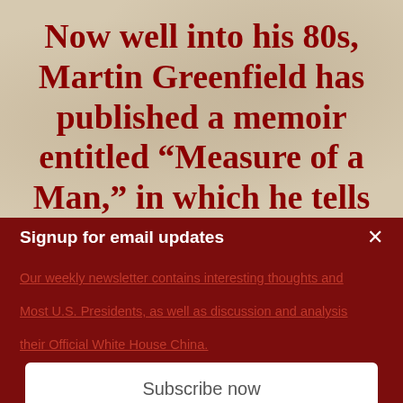Now well into his 80s, Martin Greenfield has published a memoir entitled “Measure of a Man,” in which he tells his horrifying and
Signup for email updates
Our weekly newsletter contains interesting thoughts and
Most U.S. Presidents, as well as discussion and analysis
their Official White House China.
Subscribe now